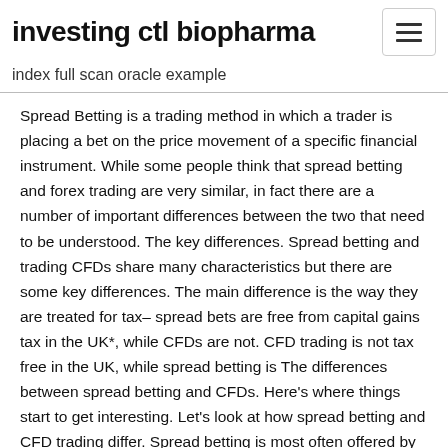investing ctl biopharma
index full scan oracle example
Spread Betting is a trading method in which a trader is placing a bet on the price movement of a specific financial instrument. While some people think that spread betting and forex trading are very similar, in fact there are a number of important differences between the two that need to be understood. The key differences. Spread betting and trading CFDs share many characteristics but there are some key differences. The main difference is the way they are treated for tax– spread bets are free from capital gains tax in the UK*, while CFDs are not. CFD trading is not tax free in the UK, while spread betting is The differences between spread betting and CFDs. Here's where things start to get interesting. Let's look at how spread betting and CFD trading differ. Spread betting is most often offered by UK and Ireland brokers. Spread betting started as a form of wagering in the USA and was invented by bookmaker Charles K. McNeil in the 1940s. A small spread exists when a market is being actively traded and has high volume—a significant